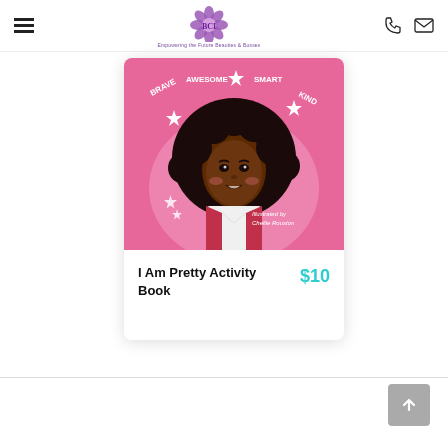Navigation header with hamburger menu, flower logo, phone icon, and mail icon
[Figure (illustration): Book cover for 'I Am Pretty Activity Book' showing an illustrated Black girl with curly hair wearing a pink/magenta outfit. Stars and text reading BRAVE, AWESOME, SMART, KIND arc across the top. Pink background. Text at bottom right reads 'Illustrated by Chellie Rouston'.]
I Am Pretty Activity Book
$10